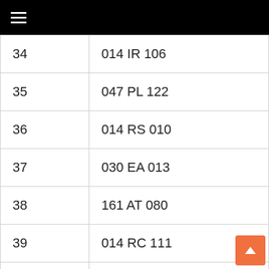☰
| 34 | 014 IR 106 |
| 35 | 047 PL 122 |
| 36 | 014 RS 010 |
| 37 | 030 EA 013 |
| 38 | 161 AT 080 |
| 39 | 014 RC 111 |
| 40 | 031 AT 183 |
| 41 | 043 WO 203 |